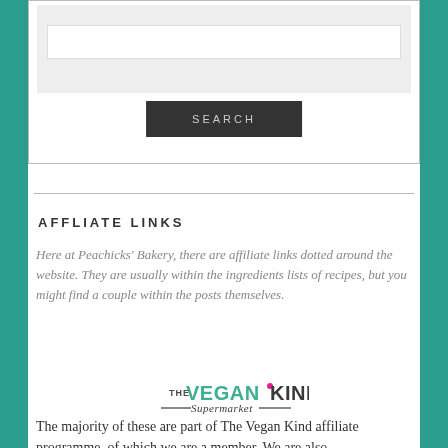[Figure (screenshot): Search box area with a white input bar on grey background and a dark SEARCH button below]
AFFLIATE LINKS
Here at Peachicks' Bakery, there are affiliate links dotted around the website.  They are usually within the ingredients lists of recipes, but you might find a couple within the posts themselves.
[Figure (logo): The Vegan Kind Supermarket logo in green and dark colours]
The majority of these are part of  The Vegan Kind affiliate programme, of which we are a member.  We are also